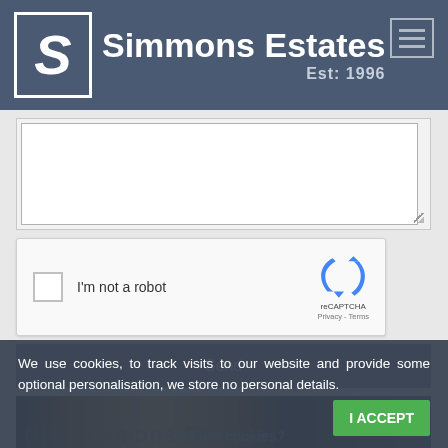Simmons Estates Est: 1996
[Figure (screenshot): White textarea form field with resize handle]
[Figure (screenshot): reCAPTCHA widget with checkbox saying I'm not a robot, reCAPTCHA logo with Privacy and Terms links]
[Figure (screenshot): Send button in blue-grey color]
[Figure (photo): Bottom partial building/office photo in dark gold tones]
We use cookies, to track visits to our website and provide some optional personalisation, we store no personal details.
I ACCEPT
What are cookies?